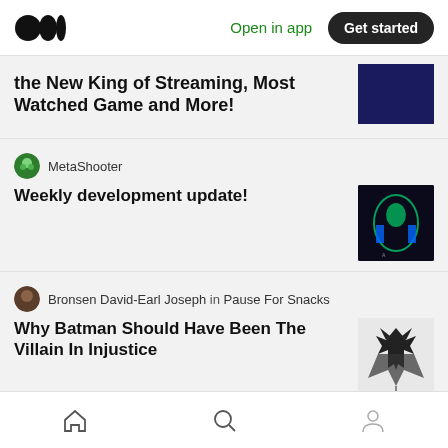Medium logo | Open in app | Get started
the New King of Streaming, Most Watched Game and More!
MetaShooter
Weekly development update!
Bronsen David-Earl Joseph in Pause For Snacks
Why Batman Should Have Been The Villain In Injustice
Gamers Exploits
Ember private server codes & Updates 2022
Home | Search | Profile